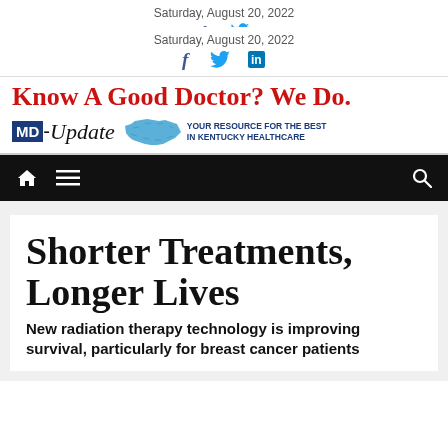Saturday, August 20, 2022
[Figure (logo): Social media icons: Facebook (f), Twitter (bird), LinkedIn (in)]
[Figure (logo): MD-Update banner with tagline 'Know A Good Doctor? We Do.' and 'YOUR RESOURCE FOR THE BEST IN KENTUCKY HEALTHCARE' with Kentucky map icon]
[Figure (screenshot): Black navigation bar with home icon, menu icon, and search icon]
Shorter Treatments, Longer Lives
New radiation therapy technology is improving survival, particularly for breast cancer patients